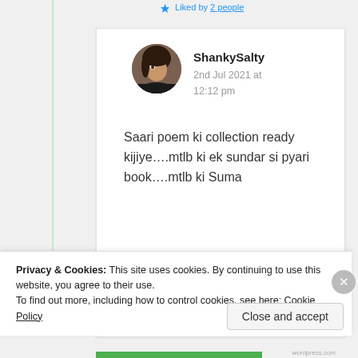Liked by 2 people
ShankySalty
2nd Jul 2021 at 12:12 pm
Saari poem ki collection ready kijiye....mtlb ki ek sundar si pyari book....mtlb ki Suma
[Figure (photo): Circular avatar photo of a woman with dark hair]
Privacy & Cookies: This site uses cookies. By continuing to use this website, you agree to their use. To find out more, including how to control cookies, see here: Cookie Policy
Close and accept